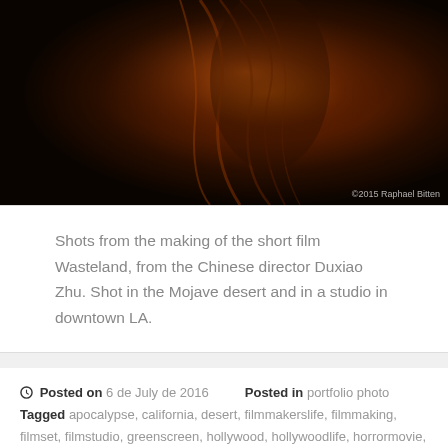[Figure (photo): Dark cinematic photo of a person from behind with flowing reddish-brown hair lit against a dark background. Copyright watermark reads '©2015 Raphael Bitten']
Shots from the making of the short film Wasteland, from the Chinese director Duxiao Zhu. Shot in the Mojave desert and in a studio in downtown LA.
Posted on 6 de July de 2016   Posted in portfolio photo  Tagged apocalypse, california, desert, filmmakerslife, filmmaking, filmset, filmstudio, greenscreen, hollywood, hollywoodlife, horrormovie, losangeles, mojave, photography, photooftheday, portrait, raphaelbittencourt, rapphotodesign, redcamera, sciencefiction, setphotography, shortfilm, shortmovie   Leave a comment